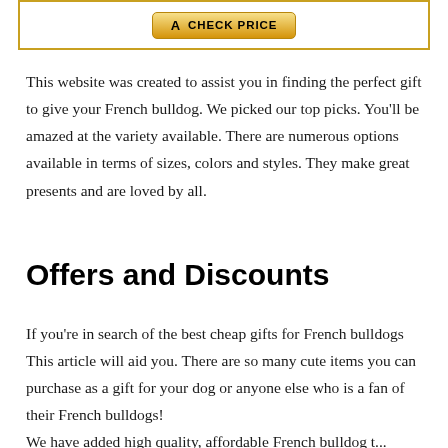[Figure (other): Amazon CHECK PRICE button inside a gold-bordered box]
This website was created to assist you in finding the perfect gift to give your French bulldog. We picked our top picks. You'll be amazed at the variety available. There are numerous options available in terms of sizes, colors and styles. They make great presents and are loved by all.
Offers and Discounts
If you're in search of the best cheap gifts for French bulldogs This article will aid you. There are so many cute items you can purchase as a gift for your dog or anyone else who is a fan of their French bulldogs!
We have added high quality, affordable French bulldog t...